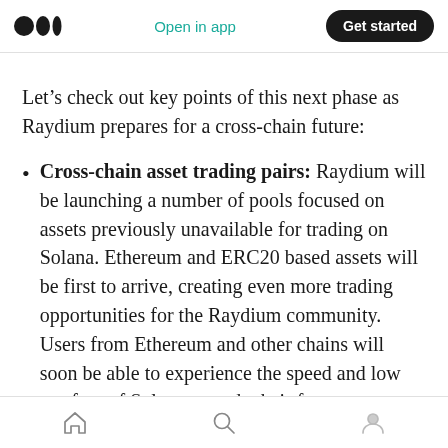Open in app | Get started
Let’s check out key points of this next phase as Raydium prepares for a cross-chain future:
Cross-chain asset trading pairs: Raydium will be launching a number of pools focused on assets previously unavailable for trading on Solana. Ethereum and ERC20 based assets will be first to arrive, creating even more trading opportunities for the Raydium community. Users from Ethereum and other chains will soon be able to experience the speed and low gas fees of Solana to trade their favorite tokens.
Home | Search | Profile